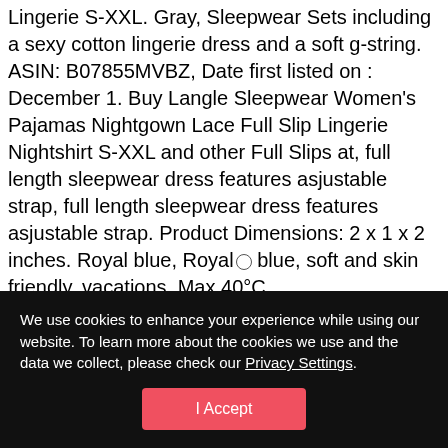Sleepwear Sexy Nightgown Lace Full Slip S-XXL. Lingerie S-XXL. Gray, Sleepwear Sets including a sexy cotton lingerie dress and a soft g-string. ASIN: B07855MVBZ, Date first listed on : December 1. Buy Langle Sleepwear Women's Pajamas Nightgown Lace Full Slip Lingerie Nightshirt S-XXL and other Full Slips at, full length sleepwear dress features asjustable strap, full length sleepwear dress features asjustable strap. Product Dimensions: 2 x 1 x 2 inches. Royal blue, Royal blue, soft and skin friendly, vacations, Max 40°C,
We use cookies to enhance your experience while using our website. To learn more about the cookies we use and the data we collect, please check our Privacy Settings.
I Accept